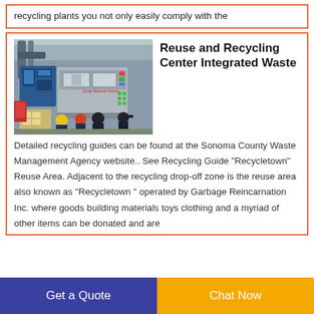recycling plants you not only easily comply with the
[Figure (photo): Industrial recycling machinery in a factory setting with workers wearing hard hats observing the equipment.]
Reuse and Recycling Center Integrated Waste
Detailed recycling guides can be found at the Sonoma County Waste Management Agency website.. See Recycling Guide "Recycletown" Reuse Area. Adjacent to the recycling drop-off zone is the reuse area also known as "Recycletown " operated by Garbage Reincarnation Inc. where goods building materials toys clothing and a myriad of other items can be donated and are
Get a Quote
Chat Now